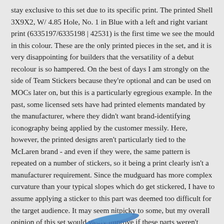stay exclusive to this set due to its specific print. The printed Shell 3X9X2, W/ 4.85 Hole, No. 1 in Blue with a left and right variant print (6335197/6335198 | 42531) is the first time we see the mould in this colour. These are the only printed pieces in the set, and it is very disappointing for builders that the versatility of a debut recolour is so hampered. On the best of days I am strongly on the side of Team Stickers because they're optional and can be used on MOCs later on, but this is a particularly egregious example. In the past, some licensed sets have had printed elements mandated by the manufacturer, where they didn't want brand-identifying iconography being applied by the customer messily. Here, however, the printed designs aren't particularly tied to the McLaren brand - and even if they were, the same pattern is repeated on a number of stickers, so it being a print clearly isn't a manufacturer requirement. Since the mudguard has more complex curvature than your typical slopes which do get stickered, I have to assume applying a sticker to this part was deemed too difficult for the target audience. It may seem nitpicky to some, but my overall opinion of this set would vastly improve if these parts weren't printed.
[Figure (photo): Blue LEGO piece (shell/mudguard) partially visible at the bottom of the page]